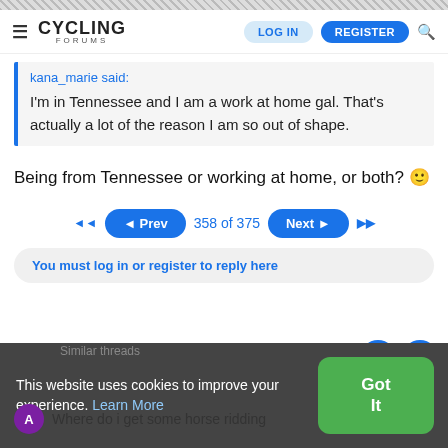CYCLING FORUMS | LOG IN | REGISTER
kana_marie said:
I'm in Tennessee and I am a work at home gal. That's actually a lot of the reason I am so out of shape.
Being from Tennessee or working at home, or both? 🙂
◄◄  ◄ Prev  358 of 375  Next ►  ►►
You must log in or register to reply here
This website uses cookies to improve your experience. Learn More
Similar threads
Where do i get some horse ridding